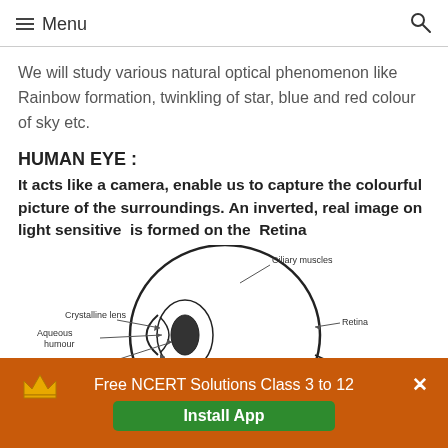≡ Menu
We will study various natural optical phenomenon like Rainbow formation, twinkling of star, blue and red colour of sky etc.
HUMAN EYE :
It acts like a camera, enable us to capture the colourful picture of the surroundings. An inverted, real image on light sensitive is formed on the  Retina
[Figure (illustration): Diagram of a human eye with labeled parts: Ciliary muscles, Crystalline lens, Aqueous humour, Pupil, Iris, Cornea, Retina, Optic nerve]
Free NCERT Solutions Class 3 to 12  Install App